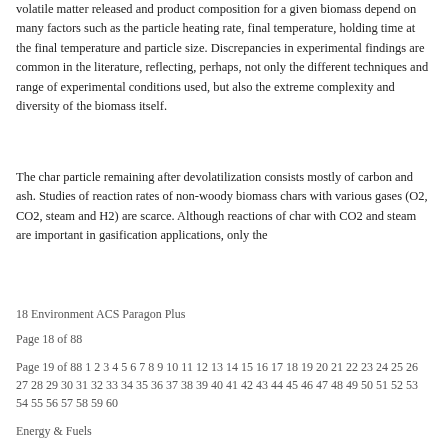volatile matter released and product composition for a given biomass depend on many factors such as the particle heating rate, final temperature, holding time at the final temperature and particle size. Discrepancies in experimental findings are common in the literature, reflecting, perhaps, not only the different techniques and range of experimental conditions used, but also the extreme complexity and diversity of the biomass itself.
The char particle remaining after devolatilization consists mostly of carbon and ash. Studies of reaction rates of non-woody biomass chars with various gases (O2, CO2, steam and H2) are scarce. Although reactions of char with CO2 and steam are important in gasification applications, only the
18 Environment ACS Paragon Plus
Page 18 of 88
Page 19 of 88 1 2 3 4 5 6 7 8 9 10 11 12 13 14 15 16 17 18 19 20 21 22 23 24 25 26 27 28 29 30 31 32 33 34 35 36 37 38 39 40 41 42 43 44 45 46 47 48 49 50 51 52 53 54 55 56 57 58 59 60
Energy & Fuels